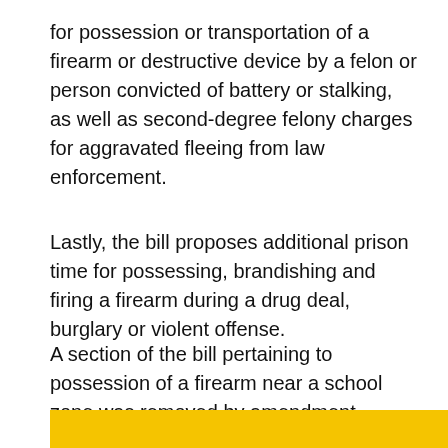for possession or transportation of a firearm or destructive device by a felon or person convicted of battery or stalking, as well as second-degree felony charges for aggravated fleeing from law enforcement.
Lastly, the bill proposes additional prison time for possessing, brandishing and firing a firearm during a drug deal, burglary or violent offense.
A section of the bill pertaining to possession of a firearm near a school zone was removed by amendment.